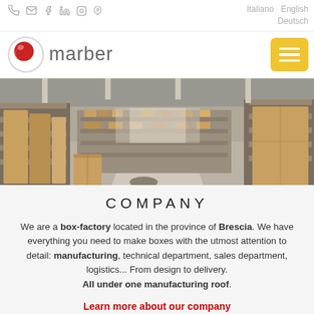🔔 ✉ f in ◎ ♡  Italiano  English  Deutsch
[Figure (logo): Marber company logo with red sphere and text 'marber']
[Figure (photo): Interior of a box factory warehouse showing shelves with cardboard boxes and packing materials, wide aisle in the center]
COMPANY
We are a box-factory located in the province of Brescia. We have everything you need to make boxes with the utmost attention to detail: manufacturing, technical department, sales department, logistics... From design to delivery. All under one manufacturing roof.
Learn more about our company